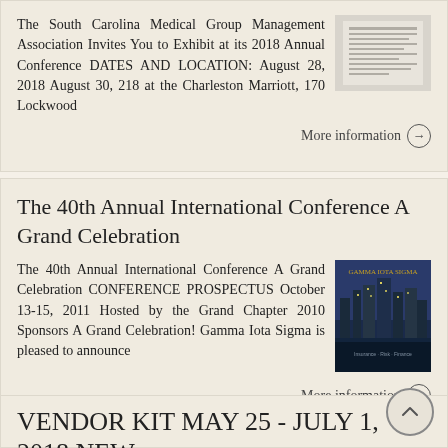The South Carolina Medical Group Management Association Invites You to Exhibit at its 2018 Annual Conference DATES AND LOCATION: August 28, 2018 August 30, 218 at the Charleston Marriott, 170 Lockwood
More information →
The 40th Annual International Conference A Grand Celebration
The 40th Annual International Conference A Grand Celebration CONFERENCE PROSPECTUS October 13-15, 2011 Hosted by the Grand Chapter 2010 Sponsors A Grand Celebration! Gamma Iota Sigma is pleased to announce
More information →
VENDOR KIT MAY 25 - JULY 1, 2018 NEW